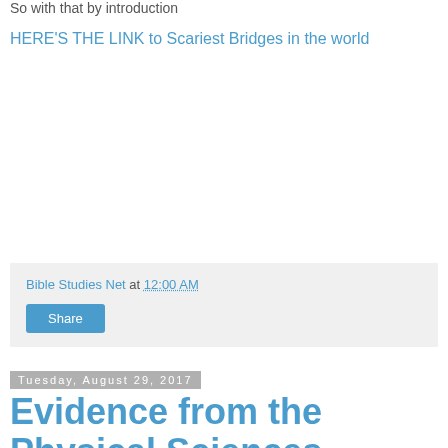So with that by introduction
HERE'S THE LINK to Scariest Bridges in the world
Bible Studies Net at 12:00 AM
Share
Tuesday, August 29, 2017
Evidence from the Physical Sciences